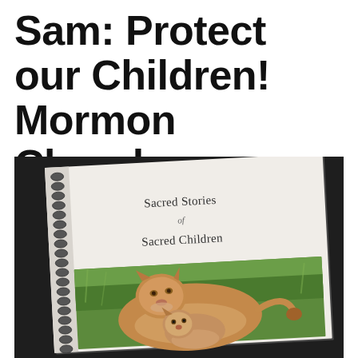Sam: Protect our Children! Mormon Church: Apostate!
[Figure (photo): A photograph of a spiral-bound booklet titled 'Sacred Stories of Sacred Children' on a dark surface. The booklet cover shows an image of a lioness with cubs in green grass.]